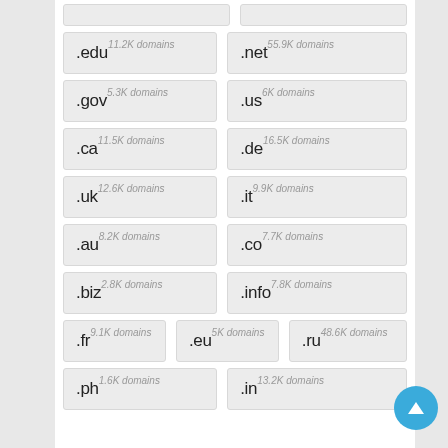.com
.org
.edu 11.2K domains
.net 55.9K domains
.gov 5.3K domains
.us 6K domains
.ca 11.5K domains
.de 16.5K domains
.uk 12.6K domains
.it 9.9K domains
.au 8.2K domains
.co 7.7K domains
.biz 2.8K domains
.info 7.8K domains
.fr 9.1K domains
.eu 5K domains
.ru 48.6K domains
.ph 1.6K domains
.in 13.2K domains